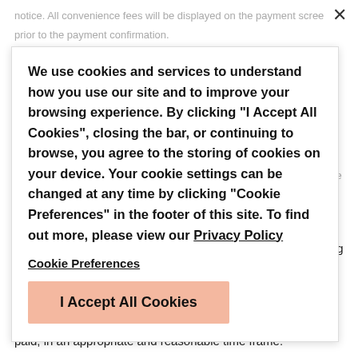notice. All convenience fees will be displayed on the payment screen prior to the payment confirmation.
7.7 In the event that a Merchant shuts down, we will use every effort to communicate with all active users to alert them. During this time, bills will be due. In the unlikely event that a Merchant shuts down, any contractual relationship is between yourself and the Merchant, and payment is suggested.
We use cookies and services to understand how you use our site and to improve your browsing experience. By clicking "I Accept All Cookies", closing the bar, or continuing to browse, you agree to the storing of cookies on your device. Your cookie settings can be changed at any time by clicking "Cookie Preferences" in the footer of this site. To find out more, please view our Privacy Policy
Cookie Preferences
I Accept All Cookies
7.8 We advise you that your credit card or bank account billing statement will show a charge item that displays the name of the merchant account of the payee. If you are unsure of that name, you are encouraged to contact the company processing this transaction so as to be sure to recognize the transaction when it appears on your monthly statement.
7.9 We reserve the right to cancel your transaction processing account at any time for any reason. Your payee may also decline/refuse any and all payments at any time and for any reason at which time we will return the payment amount entered into the Payment Gateway, minus convenience fees paid, in an appropriate and reasonable time frame.